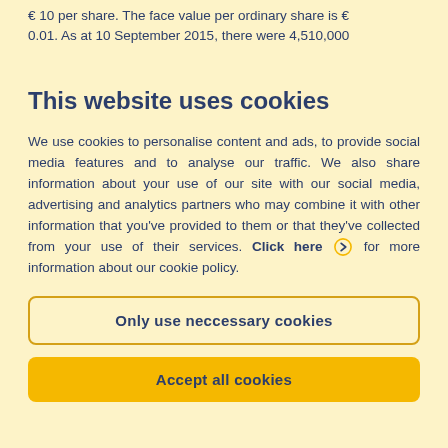€ 10 per share. The face value per ordinary share is € 0.01. As at 10 September 2015, there were 4,510,000
This website uses cookies
We use cookies to personalise content and ads, to provide social media features and to analyse our traffic. We also share information about your use of our site with our social media, advertising and analytics partners who may combine it with other information that you've provided to them or that they've collected from your use of their services. Click here ❯ for more information about our cookie policy.
Only use neccessary cookies
Accept all cookies